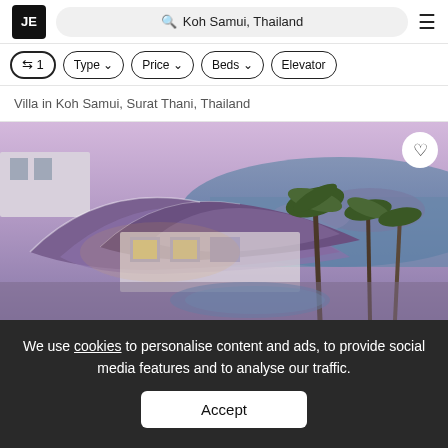JE | Koh Samui, Thailand
⇄ 1 | Type ∨ | Price ∨ | Beds ∨ | Elevator
Villa in Koh Samui, Surat Thani, Thailand
[Figure (photo): Aerial view of a luxury villa with curved purple/brown rooftops, palm trees, a pool, and ocean view at dusk in Koh Samui, Thailand]
We use cookies to personalise content and ads, to provide social media features and to analyse our traffic.
Accept
$3,279,629  Contact